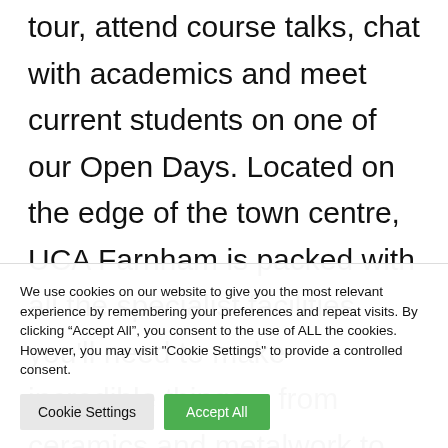tour, attend course talks, chat with academics and meet current students on one of our Open Days. Located on the edge of the town centre, UCA Farnham is packed with all the specialist facilities you'll need to make incredible things – from ceramics and metalwork to films and
We use cookies on our website to give you the most relevant experience by remembering your preferences and repeat visits. By clicking "Accept All", you consent to the use of ALL the cookies. However, you may visit "Cookie Settings" to provide a controlled consent.